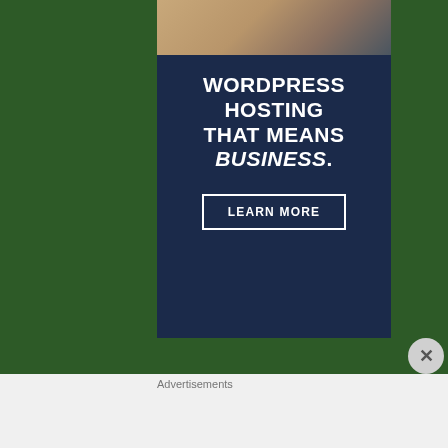[Figure (illustration): Pressable WordPress hosting advertisement banner on dark navy background. Top portion shows a partial photo of a person. Main text reads: WORDPRESS HOSTING THAT MEANS BUSINESS. with a LEARN MORE button and Pressable logo at bottom.]
Advertisements
[Figure (illustration): DuckDuckGo advertisement on orange/red background. Shows a smartphone with DuckDuckGo logo. Text: Search, browse, and email with more privacy. All in One Free App. DuckDuckGo.]